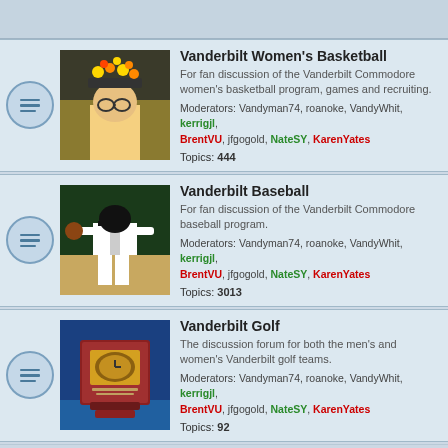Vanderbilt Women's Basketball
For fan discussion of the Vanderbilt Commodore women's basketball program, games and recruiting. Moderators: Vandyman74, roanoke, VandyWhit, kerrigjl, BrentVU, jfgogold, NateSY, KarenYates Topics: 444
Vanderbilt Baseball
For fan discussion of the Vanderbilt Commodore baseball program. Moderators: Vandyman74, roanoke, VandyWhit, kerrigjl, BrentVU, jfgogold, NateSY, KarenYates Topics: 3013
Vanderbilt Golf
The discussion forum for both the men's and women's Vanderbilt golf teams. Moderators: Vandyman74, roanoke, VandyWhit, kerrigjl, BrentVU, jfgogold, NateSY, KarenYates Topics: 92
Vanderbilt Tennis
Fan discussion of the Vanderbilt Commodores Men's and Women's Tennis Teams. Topics: 21